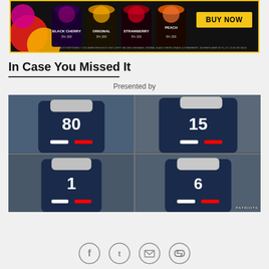[Figure (photo): Advertisement banner for Bud Light Seltzer Lemonade showing Black Cherry, Original, Strawberry, and Peach flavored cans with a BUY NOW button on yellow background]
In Case You Missed It
Presented by
[Figure (photo): 2x2 grid of four New England Patriots football players in navy blue and red uniforms. Top-left: player #80 running. Top-right: player #15 catching a pass. Bottom-left: player #1 running. Bottom-right: player in red helmet running. PATRIOTS watermark in bottom right corner.]
[Figure (infographic): Social media sharing icons: Facebook, Twitter, Email, and Link/chain icons in circular outline buttons]